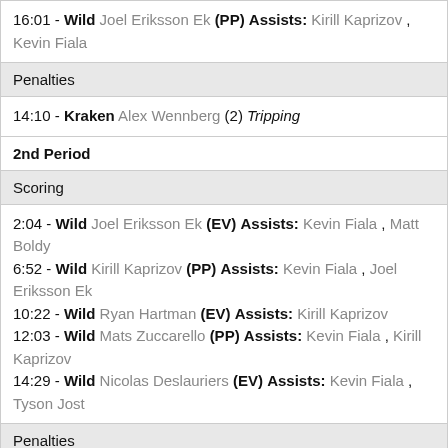16:01 - Wild Joel Eriksson Ek (PP) Assists: Kirill Kaprizov , Kevin Fiala
Penalties
14:10 - Kraken Alex Wennberg (2) Tripping
2nd Period
Scoring
2:04 - Wild Joel Eriksson Ek (EV) Assists: Kevin Fiala , Matt Boldy
6:52 - Wild Kirill Kaprizov (PP) Assists: Kevin Fiala , Joel Eriksson Ek
10:22 - Wild Ryan Hartman (EV) Assists: Kirill Kaprizov
12:03 - Wild Mats Zuccarello (PP) Assists: Kevin Fiala , Kirill Kaprizov
14:29 - Wild Nicolas Deslauriers (EV) Assists: Kevin Fiala , Tyson Jost
Penalties
6:07 - Kraken Jordan Eberle (2) Hooking
10:31 - Kraken Will Borgen (5) Fighting
10:31 - Wild Brandon Duhaime (5) Fighting
11:12 - Kraken Vince Dunn (2) Hooking